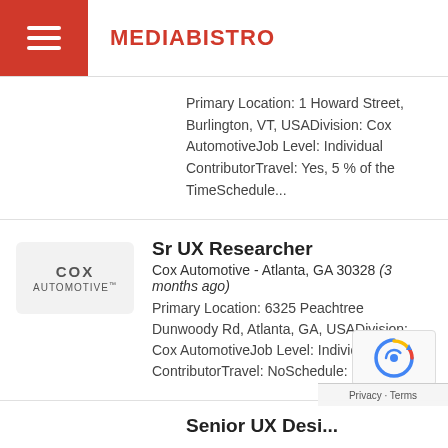MEDIABISTRO
Primary Location: 1 Howard Street, Burlington, VT, USADivision: Cox AutomotiveJob Level: Individual ContributorTravel: Yes, 5 % of the TimeSchedule...
Sr UX Researcher
Cox Automotive - Atlanta, GA 30328 (3 months ago)
Primary Location: 6325 Peachtree Dunwoody Rd, Atlanta, GA, USADivision: Cox AutomotiveJob Level: Individual ContributorTravel: NoSchedule: Full-tim...
Senior UX Desi...